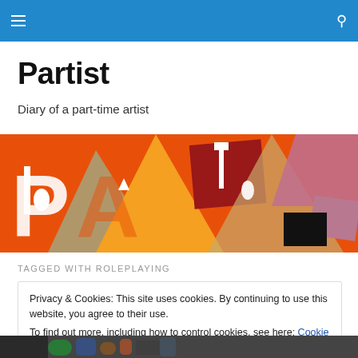Partist — navigation bar with hamburger menu and search icon
Partist
Diary of a part-time artist
[Figure (illustration): Colorful abstract banner art with large letters P, A, R, T, I, S, T in overlapping orange, red, tan, gold, and mauve geometric shapes on an orange background]
TAGGED WITH ROLEPLAYING
Privacy & Cookies: This site uses cookies. By continuing to use this website, you agree to their use.
To find out more, including how to control cookies, see here: Cookie Policy

Close and accept
[Figure (photo): Bottom strip showing a partial photo of colorful objects]